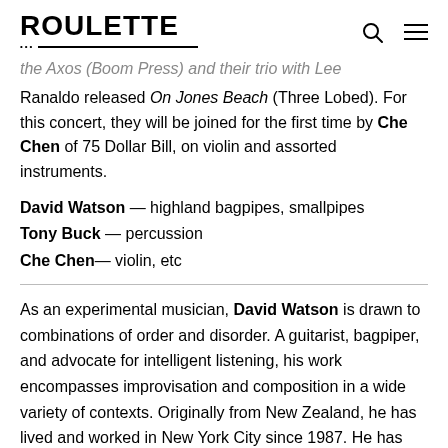ROULETTE
the Axos (Boom Press) and their trio with Lee Ranaldo released On Jones Beach (Three Lobed). For this concert, they will be joined for the first time by Che Chen of 75 Dollar Bill, on violin and assorted instruments.
David Watson — highland bagpipes, smallpipes
Tony Buck — percussion
Che Chen— violin, etc
As an experimental musician, David Watson is drawn to combinations of order and disorder. A guitarist, bagpiper, and advocate for intelligent listening, his work encompasses improvisation and composition in a wide variety of contexts. Originally from New Zealand, he has lived and worked in New York City since 1987. He has